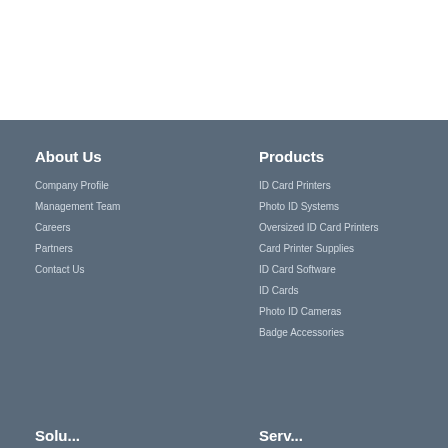About Us
Company Profile
Management Team
Careers
Partners
Contact Us
Products
ID Card Printers
Photo ID Systems
Oversized ID Card Printers
Card Printer Supplies
ID Card Software
ID Cards
Photo ID Cameras
Badge Accessories
Solutions
Services